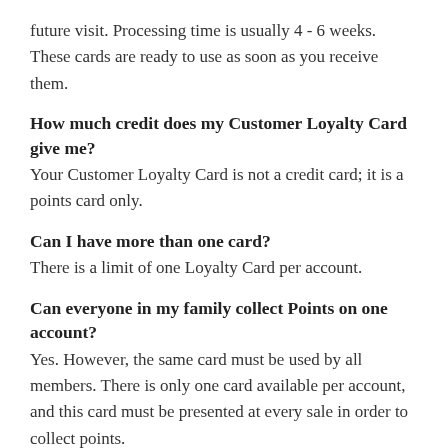future visit. Processing time is usually 4 - 6 weeks. These cards are ready to use as soon as you receive them.
How much credit does my Customer Loyalty Card give me?
Your Customer Loyalty Card is not a credit card; it is a points card only.
Can I have more than one card?
There is a limit of one Loyalty Card per account.
Can everyone in my family collect Points on one account?
Yes. However, the same card must be used by all members. There is only one card available per account, and this card must be presented at every sale in order to collect points.
Can I use my Card for Online Purchases?
Unfortunately, no... This Customer Loyalty Program is an In-